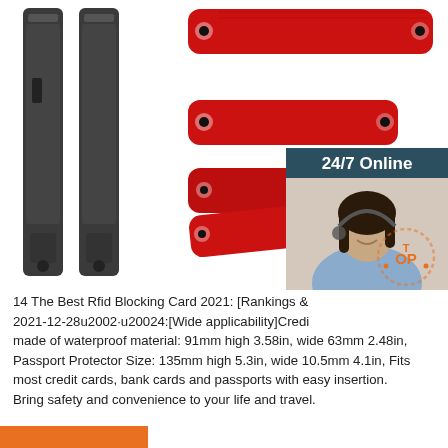[Figure (photo): Product photo showing black RFID blocking card devices on the left and red RFID blocking straps/wristbands on the right, on a white background. A customer service overlay in the top-right shows '24/7 Online' text, a female agent with headset, 'Click here for free chat!' text, and an orange QUOTATION button. A TOP stamp appears near bottom right.]
14 The Best Rfid Blocking Card 2021: [Rankings & 2021-12-28u2002·u20024:[Wide applicability]​Credi made of waterproof material: 91mm high 3.58in, wide 63mm 2.48in, Passport Protector Size: 135mm high 5.3in, wide 10.5mm 4.1in, Fits most credit cards, bank cards and passports with easy insertion. Bring safety and convenience to your life and travel.